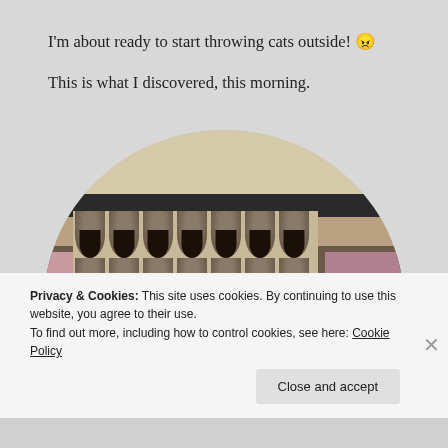I'm about ready to start throwing cats outside! 😠
This is what I discovered, this morning.
[Figure (photo): A photo of an egg carton filled with dark soil/dirt, placed inside a pink box, viewed from below a glass shelf with wooden background visible above.]
Privacy & Cookies: This site uses cookies. By continuing to use this website, you agree to their use.
To find out more, including how to control cookies, see here: Cookie Policy
Close and accept